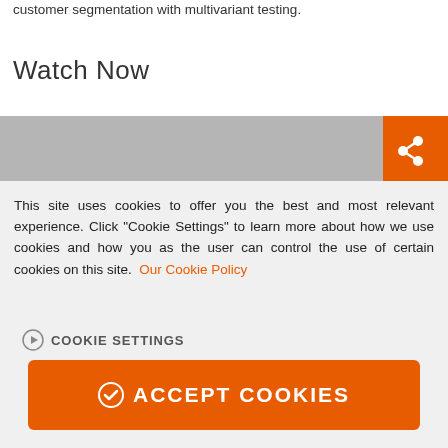customer segmentation with multivariant testing.
Watch Now
[Figure (screenshot): Gray video placeholder bar with orange share button in top-right corner]
This site uses cookies to offer you the best and most relevant experience. Click "Cookie Settings" to learn more about how we use cookies and how you as the user can control the use of certain cookies on this site. Our Cookie Policy
COOKIE SETTINGS
ACCEPT COOKIES